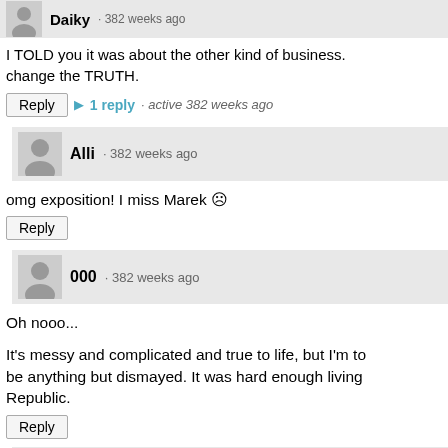Daiky · 382 weeks ago
I TOLD you it was about the other kind of business. change the TRUTH.
Reply ▶ 1 reply · active 382 weeks ago
Alli · 382 weeks ago
omg exposition! I miss Marek ☹
Reply
000 · 382 weeks ago
Oh nooo...
It's messy and complicated and true to life, but I'm to be anything but dismayed. It was hard enough living Republic.
Reply
Ajisnothere · 382 weeks ago
S...